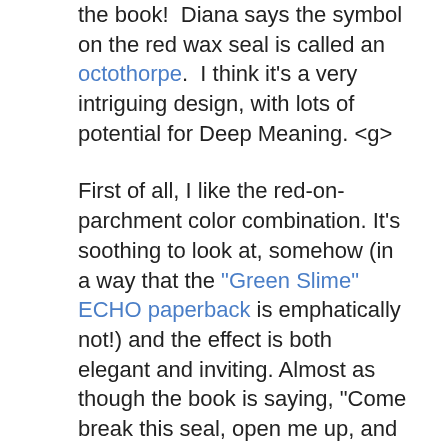the book!  Diana says the symbol on the red wax seal is called an octothorpe.  I think it's a very intriguing design, with lots of potential for Deep Meaning. <g>
First of all, I like the red-on-parchment color combination. It's soothing to look at, somehow (in a way that the "Green Slime" ECHO paperback is emphatically not!) and the effect is both elegant and inviting. Almost as though the book is saying, "Come break this seal, open me up, and see what's inside!" <g> I like that.
My first thought when I looked closely at the octothorpe design was, "Oh, cool, it's a pair of Moebius strips!" Then I looked closer.  "No, it's a pair of slightly-distorted, interlocking infinity symbols. Even better!" When I look at the image, my eyes trace those loops over and over and over. It's sort of hypnotic. <g>
We've had some interesting discussion on